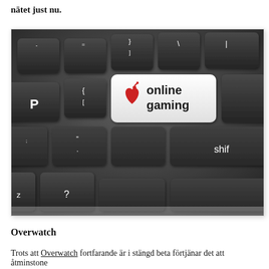nätet just nu.
[Figure (photo): A computer keyboard with a large white key featuring a red heart icon and the text 'online gaming' in bold black text. The surrounding keys are dark/black with white symbols including P, {, [, }, ], and shift keys visible.]
Overwatch
Trots att Overwatch fortfarande är i stängd beta förtjänar det att åtminstone